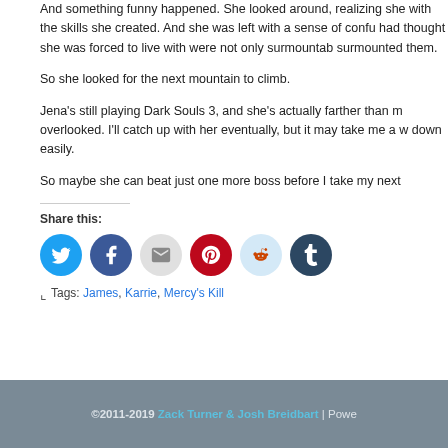And something funny happened. She looked around, realizing she with the skills she created. And she was left with a sense of confu had thought she was forced to live with were not only surmountab surmounted them.
So she looked for the next mountain to climb.
Jena's still playing Dark Souls 3, and she's actually farther than m overlooked. I'll catch up with her eventually, but it may take me a w down easily.
So maybe she can beat just one more boss before I take my next
Share this:
[Figure (infographic): Share buttons row: Twitter (blue), Facebook (dark blue), Email (grey), Pinterest (red), Reddit (light blue), Tumblr (dark navy)]
Tags: James, Karrie, Mercy's Kill
©2011-2019 Zack Turner & Josh Breidbart | Powe